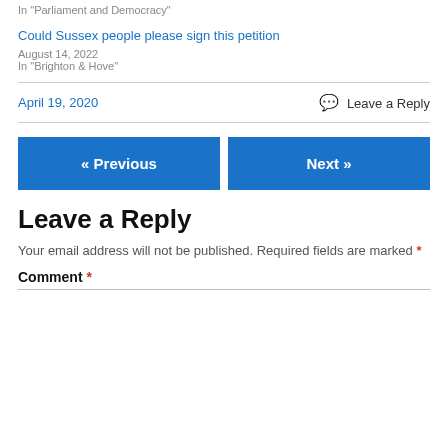In "Parliament and Democracy"
Could Sussex people please sign this petition
August 14, 2022
In "Brighton & Hove"
April 19, 2020
Leave a Reply
« Previous
Next »
Leave a Reply
Your email address will not be published. Required fields are marked *
Comment *